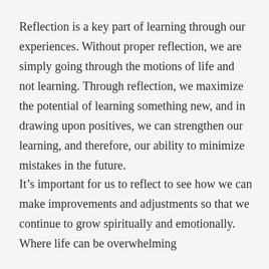Reflection is a key part of learning through our experiences. Without proper reflection, we are simply going through the motions of life and not learning. Through reflection, we maximize the potential of learning something new, and in drawing upon positives, we can strengthen our learning, and therefore, our ability to minimize mistakes in the future.
It’s important for us to reflect to see how we can make improvements and adjustments so that we continue to grow spiritually and emotionally. Where life can be overwhelming